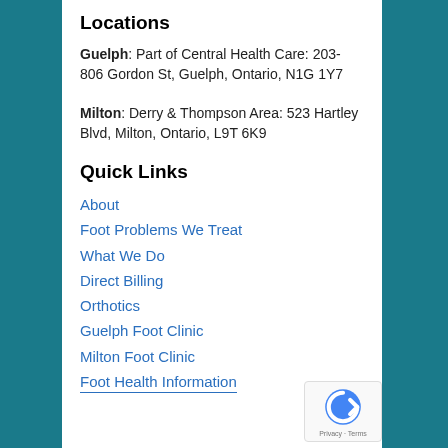Locations
Guelph: Part of Central Health Care: 203-806 Gordon St, Guelph, Ontario, N1G 1Y7
Milton: Derry & Thompson Area: 523 Hartley Blvd, Milton, Ontario, L9T 6K9
Quick Links
About
Foot Problems We Treat
What We Do
Direct Billing
Orthotics
Guelph Foot Clinic
Milton Foot Clinic
Foot Health Information